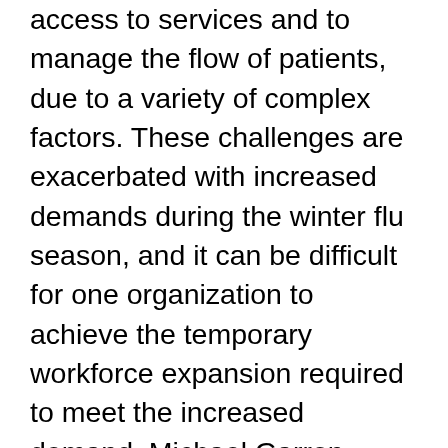access to services and to manage the flow of patients, due to a variety of complex factors. These challenges are exacerbated with increased demands during the winter flu season, and it can be difficult for one organization to achieve the temporary workforce expansion required to meet the increased demand. Michael Garron Hospital and the East Toronto Health Partners (ETHP OHT) have taken a unique approach to this situation by inviting local community health care organizations to work together to create health system solutions that extended beyond the emergency department. A participatory, collaborative approach was used to